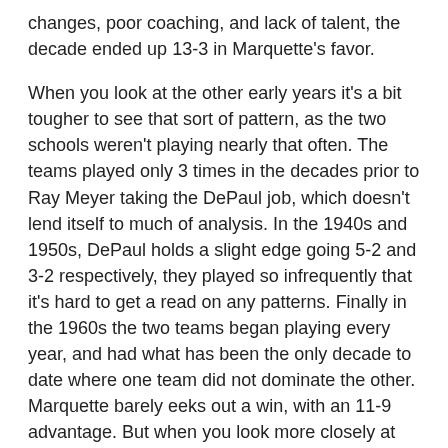changes, poor coaching, and lack of talent, the decade ended up 13-3 in Marquette's favor.
When you look at the other early years it's a bit tougher to see that sort of pattern, as the two schools weren't playing nearly that often. The teams played only 3 times in the decades prior to Ray Meyer taking the DePaul job, which doesn't lend itself to much of analysis. In the 1940s and 1950s, DePaul holds a slight edge going 5-2 and 3-2 respectively, they played so infrequently that it's hard to get a read on any patterns. Finally in the 1960s the two teams began playing every year, and had what has been the only decade to date where one team did not dominate the other. Marquette barely eeks out a win, with an 11-9 advantage. But when you look more closely at the end of that decade you begin to see another interesting trend.
Great Coaches – Great Results
Perhaps not unexpectedly, or at least I should hope not, the legendary coaches for each of the programs dominated the rivalries during the height of their careers.